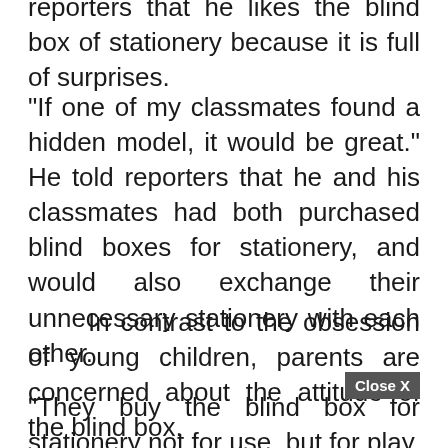A student who bought stationery told reporters that he likes the blind box of stationery because it is full of surprises.
"If one of my classmates found a hidden model, it would be great." He told reporters that he and his classmates had both purchased blind boxes for stationery, and would also exchange their unnecessary stationery with each other.
In contrast to the obsession of young children, parents are concerned about the attitude of the blind box.
"They buy the blind box for stationery not for use, but for play. They spend a lot of money to